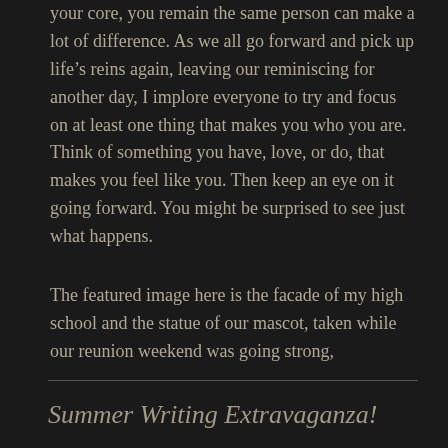your core, you remain the same person can make a lot of difference. As we all go forward and pick up life's reins again, leaving our reminiscing for another day, I implore everyone to try and focus on at least one thing that makes you who you are. Think of something you have, love, or do, that makes you feel like you. Then keep an eye on it going forward. You might be surprised to see just what happens.
The featured image here is the facade of my high school and the statue of our mascot, taken while our reunion weekend was going strong,
Summer Writing Extravaganza!